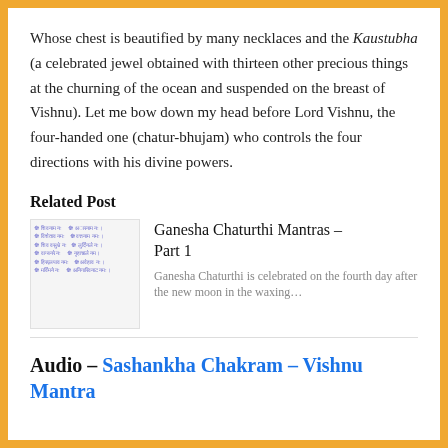Whose chest is beautified by many necklaces and the Kaustubha (a celebrated jewel obtained with thirteen other precious things at the churning of the ocean and suspended on the breast of Vishnu). Let me bow down my head before Lord Vishnu, the four-handed one (chatur-bhujam) who controls the four directions with his divine powers.
Related Post
[Figure (photo): Thumbnail image of Sanskrit mantras text for Ganesha Chaturthi]
Ganesha Chaturthi Mantras – Part 1
Ganesha Chaturthi is celebrated on the fourth day after the new moon in the waxing…
Audio – Sashankha Chakram – Vishnu Mantra